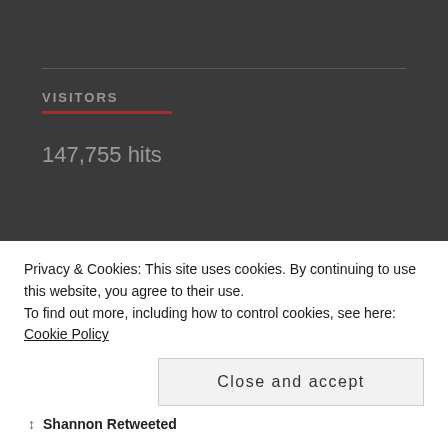VISITORS
147,755 hits
FOLLOW ME ON TWITTER
Privacy & Cookies: This site uses cookies. By continuing to use this website, you agree to their use.
To find out more, including how to control cookies, see here: Cookie Policy
Close and accept
Shannon Retweeted